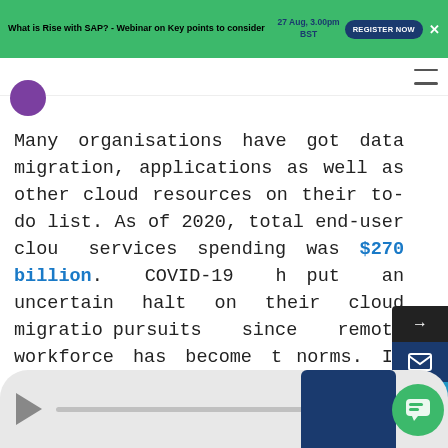What is Rise with SAP? - Webinar on Key points to consider 27 Aug, 3.00pm BST REGISTER NOW
Many organisations have got data migration, applications as well as other cloud resources on their to-do list. As of 2020, total end-user cloud services spending was $270 billion. COVID-19 has put an uncertain halt on their cloud migration pursuits since remote workforce has become the norms. If there is no clear strategy on cloud migration, there are higher chances of businesses failing. These tips can help businesses move to cloud without much hassles.
[Figure (screenshot): Media player bar at the bottom with play button and progress bar, dark blue graphic block, and green chat bubble icon]